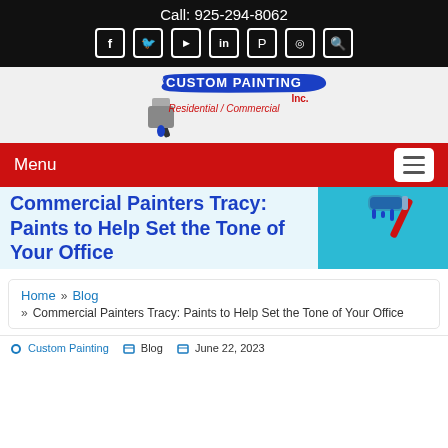Call: 925-294-8062
[Figure (logo): Custom Painting Inc. logo with paint brush and blue banner reading CUSTOM PAINTING Inc. Residential / Commercial]
Menu
Commercial Painters Tracy: Paints to Help Set the Tone of Your Office
Home » Blog » Commercial Painters Tracy: Paints to Help Set the Tone of Your Office